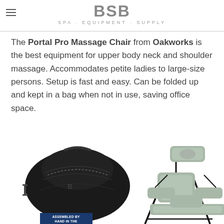BSB SPA . EQUIPMENT . SUPPLY
The Portal Pro Massage Chair from Oakworks is the best equipment for upper body neck and shoulder massage. Accommodates petite ladies to large-size persons. Setup is fast and easy. Can be folded up and kept in a bag when not in use, saving office space.
[Figure (photo): Product photo showing a black carry bag on the left and a light sage green Portal Pro Massage Chair with black frame on the right, with an 'Assembled by Hand in the...' badge visible at the bottom.]